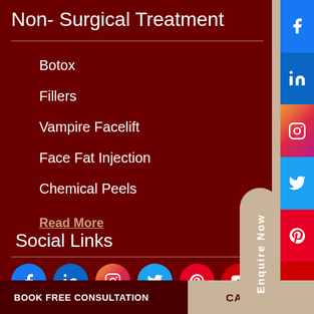Non- Surgical Treatment
Botox
Fillers
Vampire Facelift
Face Fat Injection
Chemical Peels
Read More
Social Links
[Figure (infographic): Row of 6 circular social media icons: Facebook, LinkedIn, Instagram, Twitter, Pinterest, YouTube]
[Figure (infographic): Vertical sidebar with 6 social media buttons: Facebook (blue), LinkedIn (dark blue), Instagram (gradient), Twitter (light blue), Pinterest (red), YouTube (red). Also contains a beige Enquire Now pill button.]
BOOK FREE CONSULTATION
CALL US